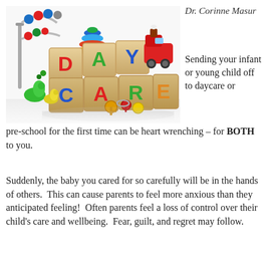[Figure (photo): Colorful children's toy blocks spelling DAY CARE with an abacus, stacking rings, toy train, and other colorful children's toys arranged on a white background.]
Dr. Corinne Masur
Sending your infant or young child off to daycare or pre-school for the first time can be heart wrenching – for BOTH to you.
Suddenly, the baby you cared for so carefully will be in the hands of others.  This can cause parents to feel more anxious than they anticipated feeling!  Often parents feel a loss of control over their child's care and wellbeing.  Fear, guilt, and regret may follow.